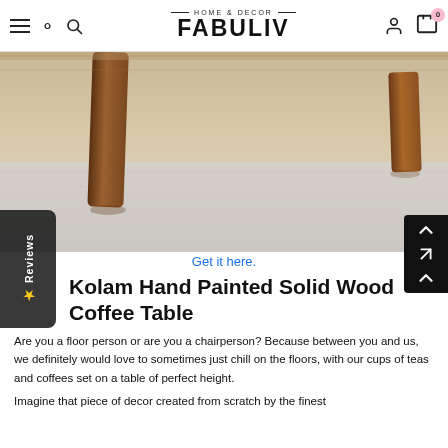HOME & DECOR FABULIV — navigation header with hamburger menu, search, logo, user icon, and cart (0)
[Figure (photo): Close-up photo of wooden coffee table legs on a grey rug/floor background]
Get it here.
Kolam Hand Painted Solid Wood Coffee Table
Are you a floor person or are you a chairperson? Because between you and us, we definitely would love to sometimes just chill on the floors, with our cups of teas and coffees set on a table of perfect height.
Imagine that piece of decor created from scratch by the finest